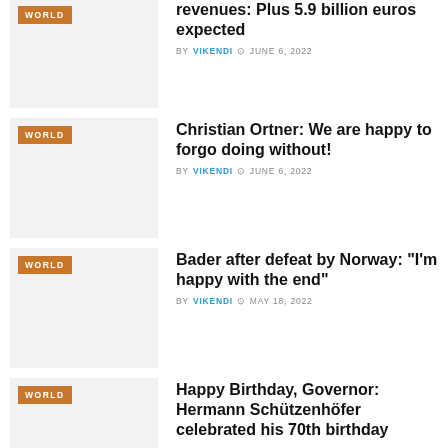revenues: Plus 5.9 billion euros expected — BY VIKENDI — JUNE 6, 2022
Christian Ortner: We are happy to forgo doing without! — BY VIKENDI — JUNE 6, 2022
Bader after defeat by Norway: "I'm happy with the end" — BY VIKENDI — MAY 18, 2022
Happy Birthday, Governor: Hermann Schützenhöfer celebrated his 70th birthday — BY VIKENDI